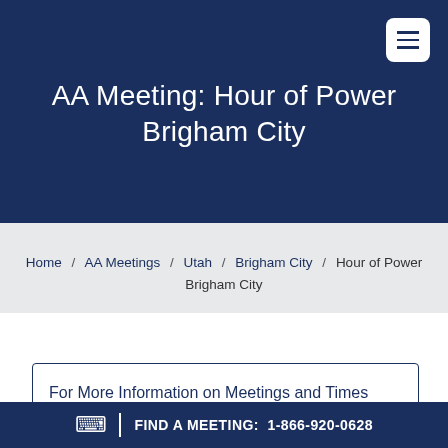AA Meeting: Hour of Power Brigham City
Home / AA Meetings / Utah / Brigham City / Hour of Power Brigham City
For More Information on Meetings and Times
FIND A MEETING: 1-866-920-0628